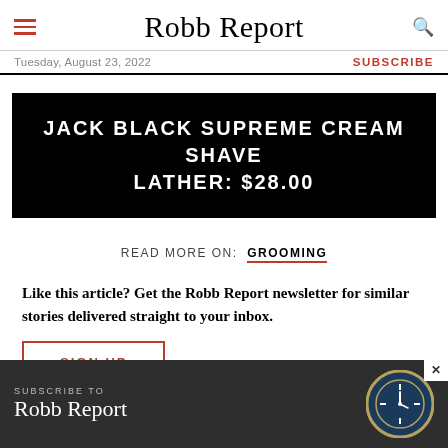Robb Report
Tuesday, August 23, 2022    SUBSCRIBE
JACK BLACK SUPREME CREAM SHAVE LATHER: $28.00
READ MORE ON: GROOMING
Like this article? Get the Robb Report newsletter for similar stories delivered straight to your inbox.
SIGN UP
MORE PRODUCT RECOMMENDATIONS
[Figure (screenshot): Advertisement banner for Robb Report subscription with watch image]